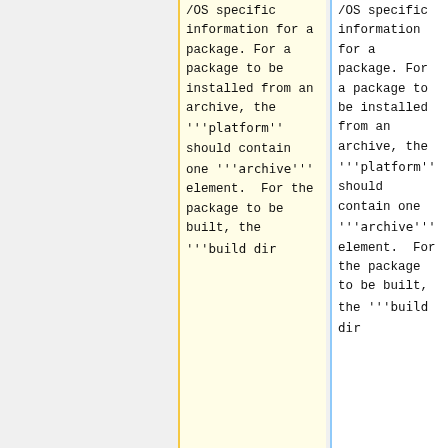/OS specific information for a package. For a package to be installed from an archive, the '''platform'' should contain one '''archive''' element.  For the package to be built, the '''build dir
/OS specific information for a package. For a package to be installed from an archive, the '''platform'' should contain one '''archive''' element.  For the package to be built, the '''build dir